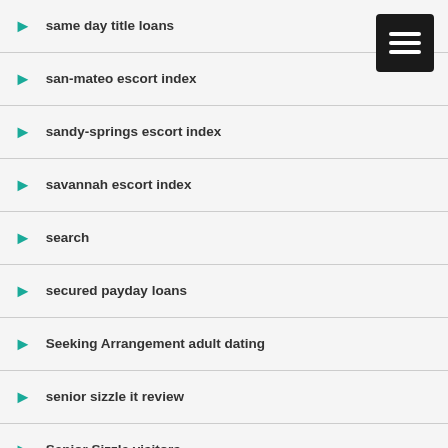same day title loans
san-mateo escort index
sandy-springs escort index
savannah escort index
search
secured payday loans
Seeking Arrangement adult dating
senior sizzle it review
Senior Sizzle visitors
short term payday loans
sign in
Sikh best dating apps